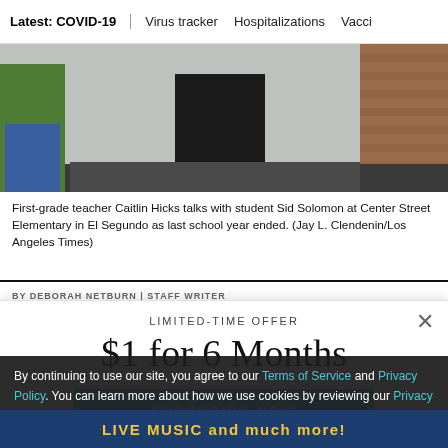Latest: COVID-19 | Virus tracker | Hospitalizations | Vacci
[Figure (photo): Photo of feet/legs of a teacher and small child standing outside on a black mat near a brick wall; the adult wears white sneakers and black pants]
First-grade teacher Caitlin Hicks talks with student Sid Solomon at Center Street Elementary in El Segundo as last school year ended. (Jay L. Clendenin/Los Angeles Times)
BY DEBORAH NETBURN | STAFF WRITER
LIMITED-TIME OFFER
$1 for 6 Months
SUBSCRIBE NOW
By continuing to use our site, you agree to our Terms of Service and Privacy Policy. You can learn more about how we use cookies by reviewing our Privacy Policy. Close